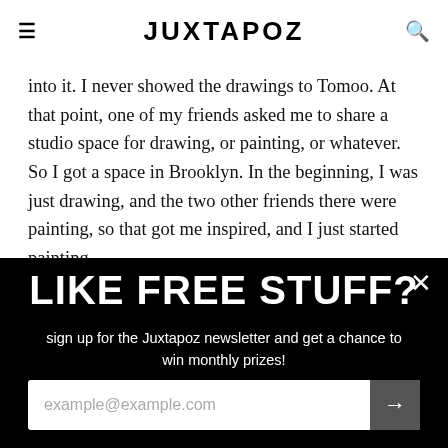JUXTAPOZ
into it. I never showed the drawings to Tomoo. At that point, one of my friends asked me to share a studio space for drawing, or painting, or whatever. So I got a space in Brooklyn. In the beginning, I was just drawing, and the two other friends there were painting, so that got me inspired, and I just started painting.
I love how organic this was, so unplanned. How did your technique and interest in portraiture develop?
LIKE FREE STUFF?
sign up for the Juxtapoz newsletter and get a chance to win monthly prizes!
example@example.com